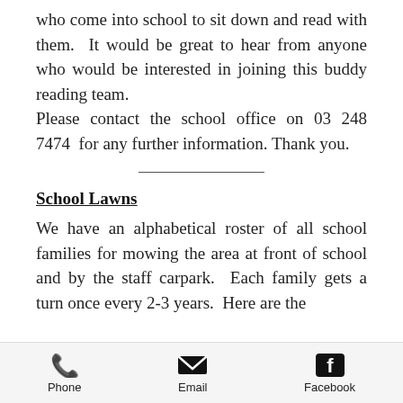who come into school to sit down and read with them.  It would be great to hear from anyone who would be interested in joining this buddy reading team.
Please contact the school office on 03 248 7474  for any further information. Thank you.
School Lawns
We have an alphabetical roster of all school families for mowing the area at front of school and by the staff carpark.  Each family gets a turn once every 2-3 years.  Here are the
Phone   Email   Facebook